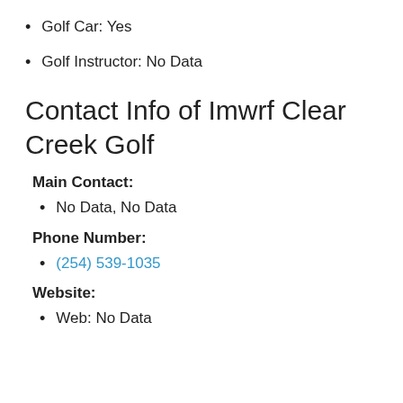Golf Car: Yes
Golf Instructor: No Data
Contact Info of Imwrf Clear Creek Golf
Main Contact:
No Data, No Data
Phone Number:
(254) 539-1035
Website:
Web: No Data